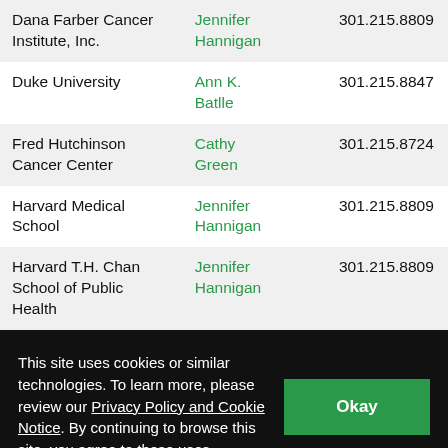| Institution | Contact | Phone |
| --- | --- | --- |
| Dana Farber Cancer Institute, Inc. | Jennifer Hannigan | 301.215.8809 |
| Duke University | Ann K. Batlle | 301.215.8847 |
| Fred Hutchinson Cancer Center | Cathy Green | 301.215.8724 |
| Harvard Medical School | Jennifer Hannigan | 301.215.8809 |
| Harvard T.H. Chan School of Public Health | Jennifer Hannigan | 301.215.8809 |
This site uses cookies or similar technologies. To learn more, please review our Privacy Policy and Cookie Notice. By continuing to browse this site, you agree to these uses.